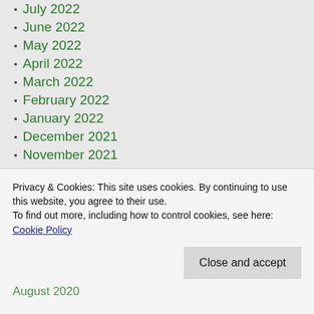July 2022
June 2022
May 2022
April 2022
March 2022
February 2022
January 2022
December 2021
November 2021
October 2021
September 2021
August 2021
July 2021
June 2021
May 2021
April 2021
March 2021 (partial)
Privacy & Cookies: This site uses cookies. By continuing to use this website, you agree to their use. To find out more, including how to control cookies, see here: Cookie Policy
August 2020 (partial)
July 2020